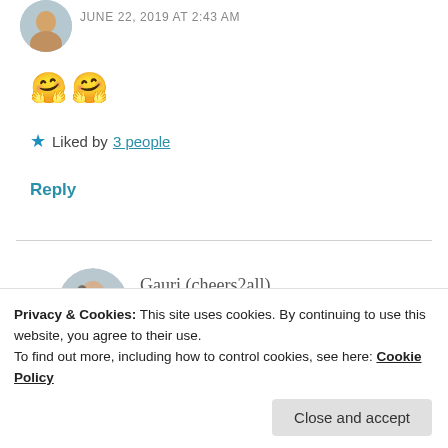JUNE 22, 2019 AT 2:43 AM
🤗🤗
★ Liked by 3 people
Reply
Gauri (cheers2all)
JUNE 22, 2019 AT 8:26 PM
Privacy & Cookies: This site uses cookies. By continuing to use this website, you agree to their use.
To find out more, including how to control cookies, see here: Cookie Policy
Close and accept
And if you can learn how to manage it and